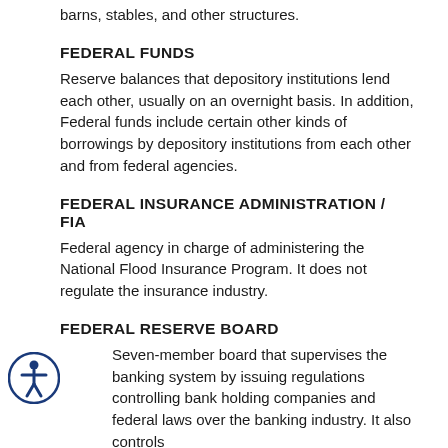barns, stables, and other structures.
FEDERAL FUNDS
Reserve balances that depository institutions lend each other, usually on an overnight basis. In addition, Federal funds include certain other kinds of borrowings by depository institutions from each other and from federal agencies.
FEDERAL INSURANCE ADMINISTRATION / FIA
Federal agency in charge of administering the National Flood Insurance Program. It does not regulate the insurance industry.
FEDERAL RESERVE BOARD
Seven-member board that supervises the banking system by issuing regulations controlling bank holding companies and federal laws over the banking industry. It also controls